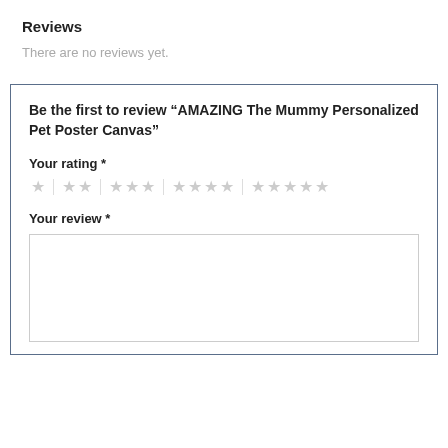Reviews
There are no reviews yet.
Be the first to review “AMAZING The Mummy Personalized Pet Poster Canvas”
Your rating *
[Figure (other): Star rating selector with 5 groups of 1, 2, 3, 4, and 5 gray stars separated by dividers]
Your review *
[Figure (other): Empty text area for review input]